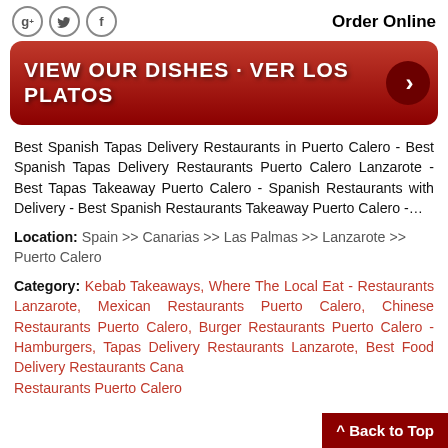[Figure (logo): Social media icons: Google+, Twitter, Facebook circles]
Order Online
[Figure (illustration): Red rounded rectangle banner with white bold text: VIEW OUR DISHES · VER LOS PLATOS, with a right-arrow circle button]
Best Spanish Tapas Delivery Restaurants in Puerto Calero - Best Spanish Tapas Delivery Restaurants Puerto Calero Lanzarote - Best Tapas Takeaway Puerto Calero - Spanish Restaurants with Delivery - Best Spanish Restaurants Takeaway Puerto Calero -...
Location: Spain >> Canarias >> Las Palmas >> Lanzarote >> Puerto Calero
Category: Kebab Takeaways, Where The Local Eat - Restaurants Lanzarote, Mexican Restaurants Puerto Calero, Chinese Restaurants Puerto Calero, Burger Restaurants Puerto Calero - Hamburgers, Tapas Delivery Restaurants Lanzarote, Best Food Delivery Restaurants Canarias, Restaurants Puerto Calero